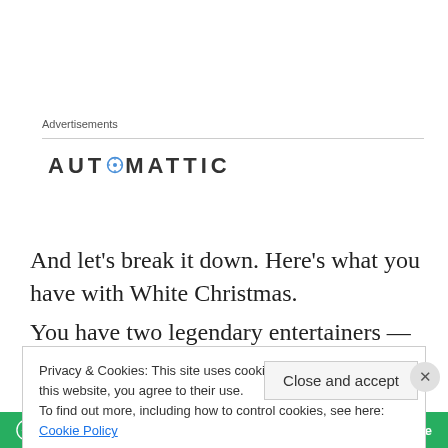Advertisements
[Figure (logo): Automattic logo with circular compass icon replacing the letter O]
And let's break it down. Here's what you have with White Christmas.
You have two legendary entertainers — Bing Crosby and
Privacy & Cookies: This site uses cookies. By continuing to use this website, you agree to their use.
To find out more, including how to control cookies, see here: Cookie Policy
[Figure (logo): Jetpack banner at bottom with green background, Jetpack logo and text 'Back up your site']